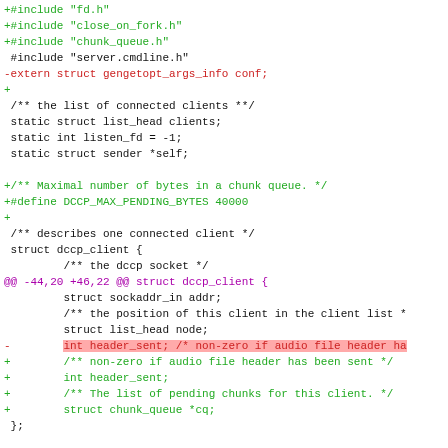[Figure (screenshot): A code diff view showing changes to a C source file. Lines with + prefix are shown in green (additions), lines with - prefix in red (deletions), @@ hunk markers in magenta, and unchanged context lines in black. Some deleted lines have red background highlights. One added line has a green background highlight on a specific token.]